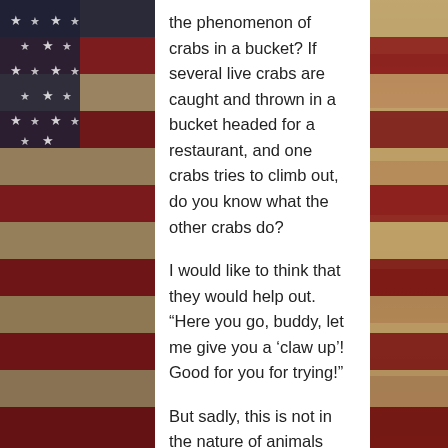[Figure (illustration): American flag background (distressed/vintage style) with red and white stripes and dark canton with stars, in dark muted tones]
the phenomenon of crabs in a bucket? If several live crabs are caught and thrown in a bucket headed for a restaurant, and one crabs tries to climb out, do you know what the other crabs do?
I would like to think that they would help out. “Here you go, buddy, let me give you a ‘claw up’! Good for you for trying!”
But sadly, this is not in the nature of animals (and humans are animals). What happens is that the rest of the